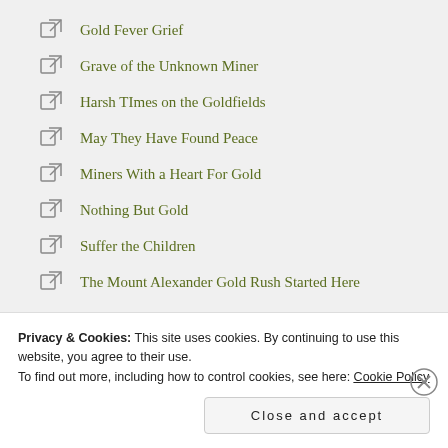Gold Fever Grief
Grave of the Unknown Miner
Harsh TImes on the Goldfields
May They Have Found Peace
Miners With a Heart For Gold
Nothing But Gold
Suffer the Children
The Mount Alexander Gold Rush Started Here
Privacy & Cookies: This site uses cookies. By continuing to use this website, you agree to their use.
To find out more, including how to control cookies, see here: Cookie Policy
Close and accept